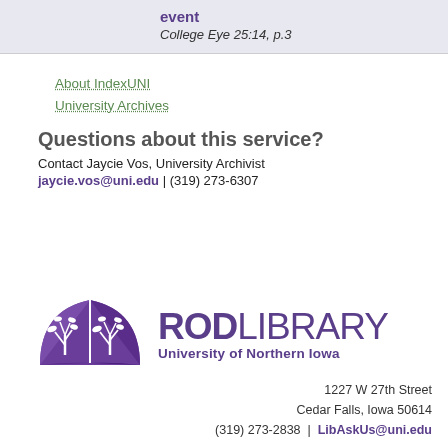event
College Eye 25:14, p.3
About IndexUNI
University Archives
Questions about this service?
Contact Jaycie Vos, University Archivist
jaycie.vos@uni.edu | (319) 273-6307
[Figure (logo): Rod Library, University of Northern Iowa logo with purple open book icon and tree]
1227 W 27th Street
Cedar Falls, Iowa 50614
(319) 273-2838  |  LibAskUs@uni.edu